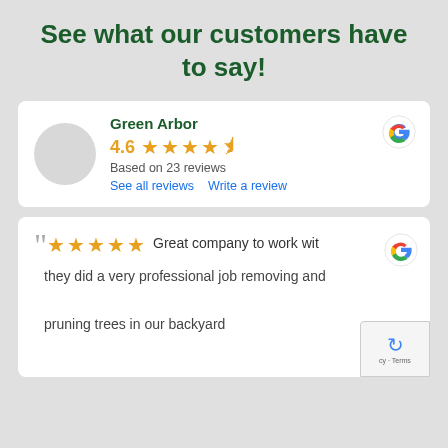See what our customers have to say!
[Figure (infographic): Google My Business review widget showing Green Arbor business with 4.6 star rating based on 23 reviews, with links to see all reviews and write a review]
[Figure (infographic): Google review card with 5 stars and quote: Great company to work with, they did a very professional job removing and pruning trees in our backyard]